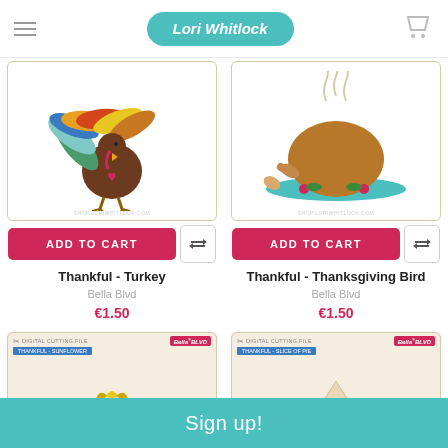Lori Whitlock
[Figure (illustration): Cartoon turkey with colorful feathers illustration, product card for Thankful - Turkey]
[Figure (illustration): Roasted turkey on a platter illustration, product card for Thankful - Thanksgiving Bird]
ADD TO CART
ADD TO CART
Thankful - Turkey
Bella Blvd
€1.50
Thankful - Thanksgiving Bird
Bella Blvd
€1.50
[Figure (illustration): Product card showing sunflower digital cutting file - Thankful Sunflower]
[Figure (illustration): Product card showing slice of pie digital cutting file - Thankful Slice of Pie]
Sign up!